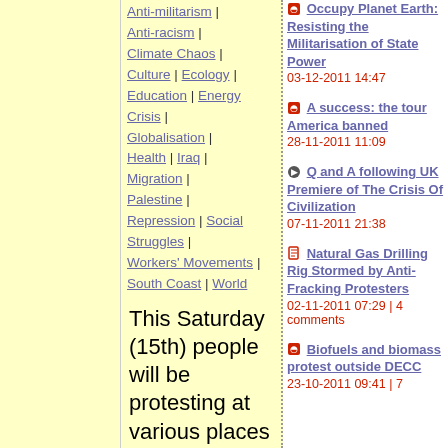Anti-militarism | Anti-racism | Climate Chaos | Culture | Ecology | Education | Energy Crisis | Globalisation | Health | Iraq | Migration | Palestine | Repression | Social Struggles | Workers' Movements | South Coast | World
This Saturday (15th) people will be protesting at various places around central London to give the new 'stable, national interest'
Occupy Planet Earth: Resisting the Militarisation of State Power
03-12-2011 14:47
A success: the tour America banned
28-11-2011 11:09
Q and A following UK Premiere of The Crisis Of Civilization
07-11-2011 21:38
Natural Gas Drilling Rig Stormed by Anti-Fracking Protesters
02-11-2011 07:29 | 4 comments
Biofuels and biomass protest outside DECC
23-10-2011 09:41 | 7